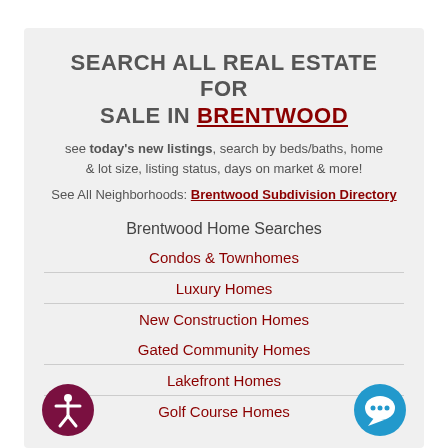SEARCH ALL REAL ESTATE FOR SALE IN BRENTWOOD
see today's new listings, search by beds/baths, home & lot size, listing status, days on market & more!
See All Neighborhoods: Brentwood Subdivision Directory
Brentwood Home Searches
Condos & Townhomes
Luxury Homes
New Construction Homes
Gated Community Homes
Lakefront Homes
Golf Course Homes